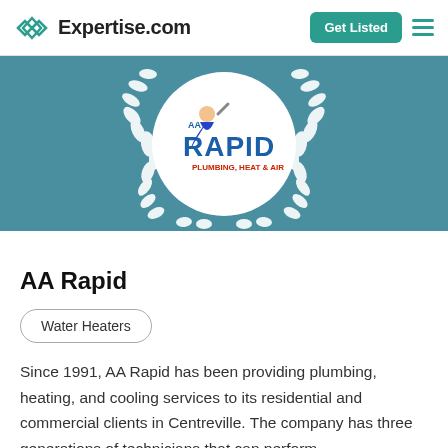Expertise.com | Get Listed
[Figure (logo): AA Rapid Plumbing, Heat & Air logo inside a white circle with laurel wreath on teal banner background]
AA Rapid
Water Heaters
Since 1991, AA Rapid has been providing plumbing, heating, and cooling services to its residential and commercial clients in Centreville. The company has three generations of technicians that can perform